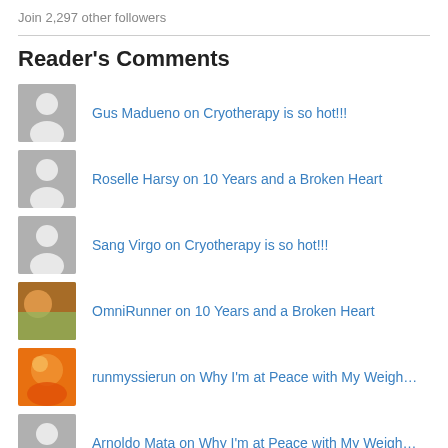Join 2,297 other followers
Reader's Comments
Gus Madueno on Cryotherapy is so hot!!!
Roselle Harsy on 10 Years and a Broken Heart
Sang Virgo on Cryotherapy is so hot!!!
OmniRunner on 10 Years and a Broken Heart
runmyssierun on Why I'm at Peace with My Weigh…
Arnoldo Mata on Why I'm at Peace with My Weigh…